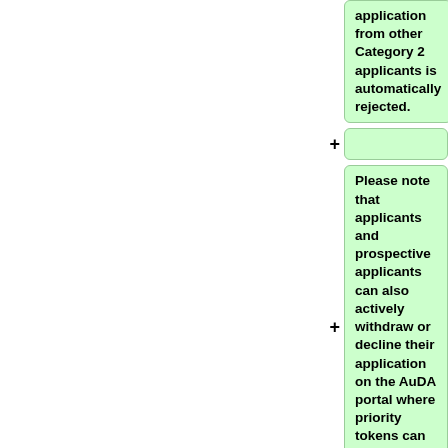application from other Category 2 applicants is automatically rejected.
+
Please note that applicants and prospective applicants can also actively withdraw or decline their application on the AuDA portal where priority tokens can be requested.
+
=== Priority Registrations Timeline ===
[[File:aulaunchtimeline.png]]
+
== General Availability applications ==